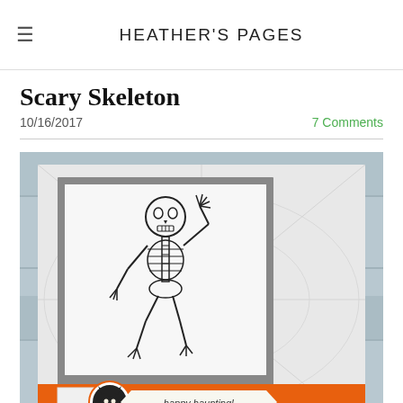HEATHER'S PAGES
Scary Skeleton
10/16/2017
7 Comments
[Figure (photo): Handmade Halloween card featuring a dancing skeleton stamp on white cardstock with gray mat, orange banner strip, black cat circle embellishment, and 'happy haunting!' banner. Background is embossed white cardstock with spiderweb texture, with wooden planks visible behind. Small black bats visible at bottom. Card has 'Handmade by Heather Heaton www.heatherspages.org' watermark.]